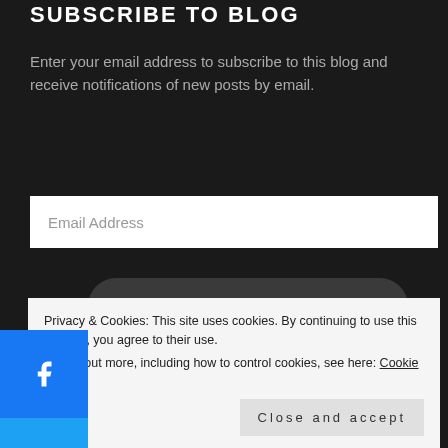SUBSCRIBE TO BLOG
Enter your email address to subscribe to this blog and receive notifications of new posts by email.
[Figure (screenshot): Email Address input field (white rectangle)]
[Figure (screenshot): SUBSCRIBE button (dark rounded rectangle)]
[Figure (screenshot): Social sharing sidebar with Facebook, Twitter, and plus buttons]
[Figure (screenshot): Follow Lindsey Reads button with WordPress logo and 348 follower count badge]
Privacy & Cookies: This site uses cookies. By continuing to use this website, you agree to their use.
To find out more, including how to control cookies, see here: Cookie Policy
Close and accept